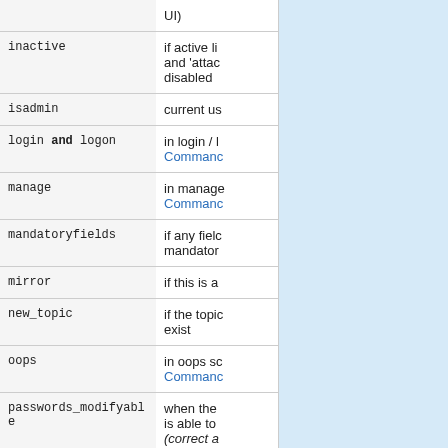| Variable | Description |
| --- | --- |
|  | UI) |
| inactive | if active li and 'attac disabled |
| isadmin | current us |
| login and logon | in login / l Commanc |
| manage | in manage Commanc |
| mandatoryfields | if any fielc mandator |
| mirror | if this is a |
| new_topic | if the topic exist |
| oops | in oops sc Commanc |
| passwords_modifyable | when the is able to (correct a |